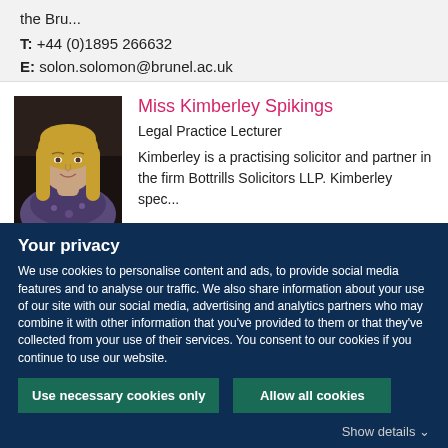the Bru...
T: +44 (0)1895 266632
E: solon.solomon@brunel.ac.uk
[Figure (photo): Headshot photo of Miss Kimberley Spikings, a woman with long blonde hair wearing a patterned top.]
Miss Kimberley Spikings
Legal Practice Lecturer
Kimberley is a practising solicitor and partner in the firm Bottrills Solicitors LLP. Kimberley spec...
Your privacy
We use cookies to personalise content and ads, to provide social media features and to analyse our traffic. We also share information about your use of our site with our social media, advertising and analytics partners who may combine it with other information that you've provided to them or that they've collected from your use of their services. You consent to our cookies if you continue to use our website.
Use necessary cookies only
Allow all cookies
Show details